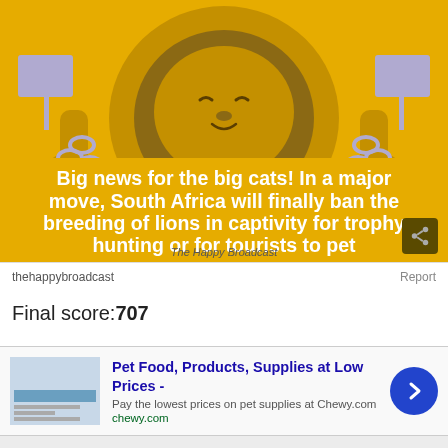[Figure (illustration): Cartoon illustration of a lion with a mane, breaking chains with both paws raised, holding sign/flag placards on each side, on a golden/yellow background. The lion has a smiling face.]
Big news for the big cats! In a major move, South Africa will finally ban the breeding of lions in captivity for trophy hunting or for tourists to pet
The Happy Broadcast
thehappybroadcast
Report
Final score:707
Pet Food, Products, Supplies at Low Prices -
Pay the lowest prices on pet supplies at Chewy.com
chewy.com